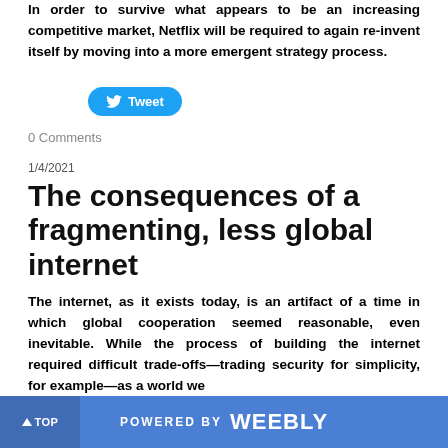In order to survive what appears to be an increasing competitive market, Netflix will be required to again re-invent itself by moving into a more emergent strategy process.
[Figure (other): Twitter Tweet button with bird icon]
0 Comments
1/4/2021
The consequences of a fragmenting, less global internet
The internet, as it exists today, is an artifact of a time in which global cooperation seemed reasonable, even inevitable. While the process of building the internet required difficult trade-offs—trading security for simplicity, for example—as a world we
▲ TOP    POWERED BY weebly